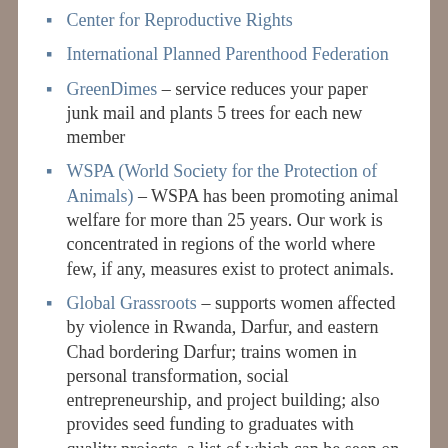Center for Reproductive Rights
International Planned Parenthood Federation
GreenDimes – service reduces your paper junk mail and plants 5 trees for each new member
WSPA (World Society for the Protection of Animals) – WSPA has been promoting animal welfare for more than 25 years. Our work is concentrated in regions of the world where few, if any, measures exist to protect animals.
Global Grassroots – supports women affected by violence in Rwanda, Darfur, and eastern Chad bordering Darfur; trains women in personal transformation, social entrepreneurship, and project building; also provides seed funding to graduates with quality projects, a list of which can be seen on their web site; founded by Gretchen Steidle Wallace of the film The Devil Came On Horseback.
Best Friends Animal Society – rehabilitates